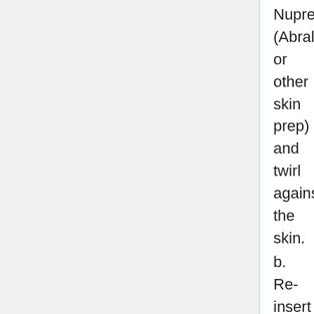Nuprep (Abralyt or other skin prep) and twirl against the skin.
b. Re-insert electrolyte
c. Re-measure impedance
d.